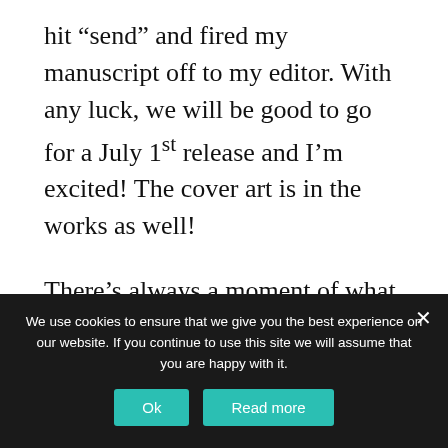hit “send” and fired my manuscript off to my editor. With any luck, we will be good to go for a July 1st release and I’m excited! The cover art is in the works as well!
There’s always a moment of what I refer to as “extreme anxiety” when an author sends a new novel off to their trusted advance readers. These are avid readers who have promised to be
We use cookies to ensure that we give you the best experience on our website. If you continue to use this site we will assume that you are happy with it.